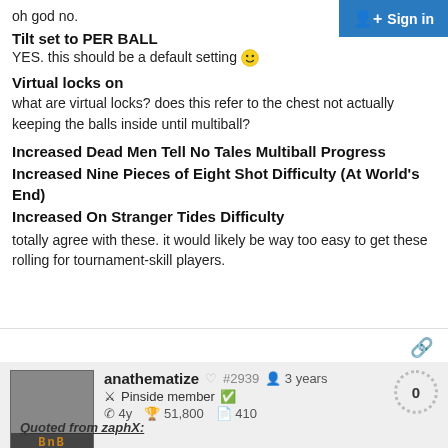oh god no.
Tilt set to PER BALL
YES. this should be a default setting 🙂
Virtual locks on
what are virtual locks? does this refer to the chest not actually keeping the balls inside until multiball?
Increased Dead Men Tell No Tales Multiball Progress
Increased Nine Pieces of Eight Shot Difficulty (At World's End)
Increased On Stranger Tides Difficulty
totally agree with these. it would likely be way too easy to get these rolling for tournament-skill players.
anathematize #2939 3 years 0
Pinside member
4y 51,800 410
Quoted from zaphX: